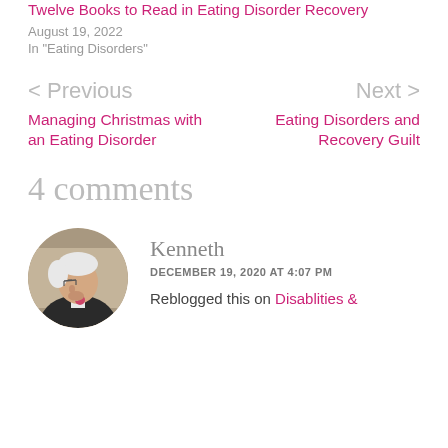Twelve Books to Read in Eating Disorder Recovery
August 19, 2022
In "Eating Disorders"
< Previous
Managing Christmas with an Eating Disorder
Next >
Eating Disorders and Recovery Guilt
4 comments
[Figure (photo): Circular avatar photo of an elderly man with white hair and glasses, wearing a dark suit with a floral corsage, looking downward.]
Kenneth
DECEMBER 19, 2020 AT 4:07 PM
Reblogged this on Disablities &